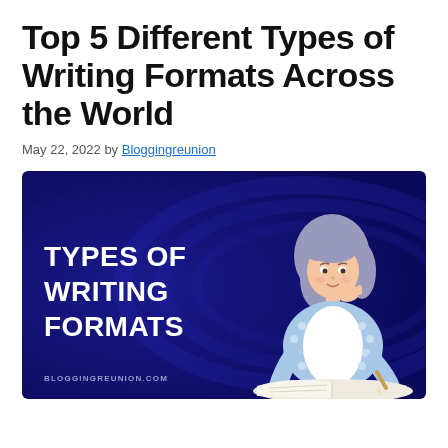Top 5 Different Types of Writing Formats Across the World
May 22, 2022 by Bloggingreunion
[Figure (illustration): Dark navy blue banner image with bold white text reading 'TYPES OF WRITING FORMATS' on the left side, and a cartoon illustration of a girl with gray hair resting her chin on her hand while writing in an open book on the right. The website URL 'BLOGGINGREUNION.COM' appears in the lower left corner.]